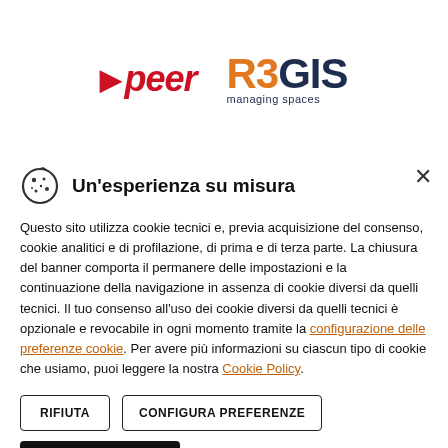[Figure (logo): peer logo in red italic with arrow, and R3GIS logo in orange/navy with 'managing spaces' subtitle]
Un'esperienza su misura
Questo sito utilizza cookie tecnici e, previa acquisizione del consenso, cookie analitici e di profilazione, di prima e di terza parte. La chiusura del banner comporta il permanere delle impostazioni e la continuazione della navigazione in assenza di cookie diversi da quelli tecnici. Il tuo consenso all'uso dei cookie diversi da quelli tecnici è opzionale e revocabile in ogni momento tramite la configurazione delle preferenze cookie. Per avere più informazioni su ciascun tipo di cookie che usiamo, puoi leggere la nostra Cookie Policy.
RIFIUTA
CONFIGURA PREFERENZE
ACCETTA TUTTI